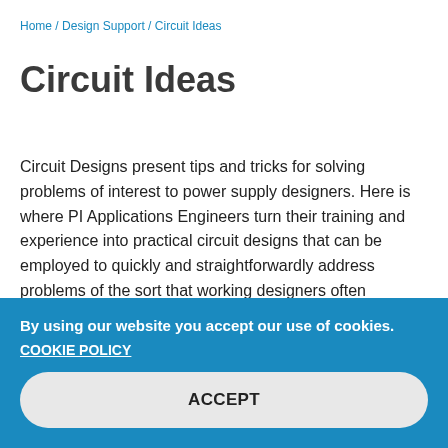Home / Design Support / Circuit Ideas
Circuit Ideas
Circuit Designs present tips and tricks for solving problems of interest to power supply designers. Here is where PI Applications Engineers turn their training and experience into practical circuit designs that can be employed to quickly and straightforwardly address problems of the sort that working designers often encounter.
By using our website you accept our use of cookies.
COOKIE POLICY
ACCEPT